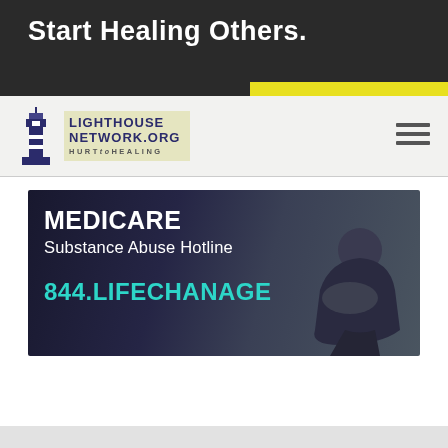[Figure (screenshot): Top dark banner with white bold text 'Start Healing Others.' and a yellow bar at the bottom right]
[Figure (logo): Lighthouse Network logo with lighthouse icon and text 'LIGHTHOUSE NETWORK.ORG HURT to HEALING' on a light background, with hamburger menu icon on the right]
[Figure (infographic): Dark background banner image showing a person in distress with text: 'MEDICARE Substance Abuse Hotline 844.LIFECHANAGE' in white and teal colors]